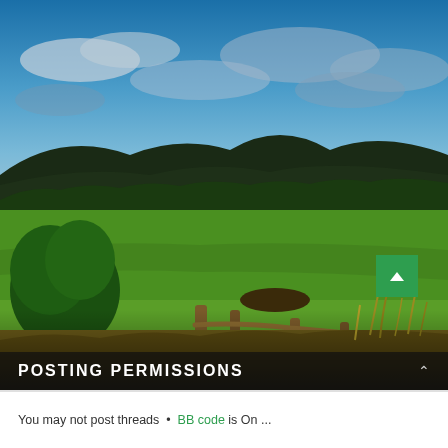[Figure (photo): Countryside landscape photograph showing a green field with a rustic wooden fence in the foreground, dense trees and dark hills/mountains in the middle ground, and a dramatic cloudy blue sky above. Golden evening light illuminates the scene.]
POSTING PERMISSIONS
You may not post threads • BB code is On...